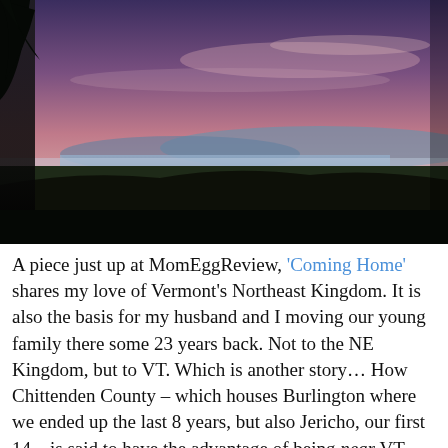[Figure (photo): Landscape photograph of a Vermont sunset/dusk scene showing silhouetted trees and hills against a pink and purple sky, with a lake or valley visible in the middle distance and dark foreground.]
A piece just up at MomEggReview, 'Coming Home' shares my love of Vermont's Northeast Kingdom. It is also the basis for my husband and I moving our young family there some 23 years back. Not to the NE Kingdom, but to VT. Which is another story… How Chittenden County – which houses Burlington where we ended up the last 8 years, but also Jericho, our first 14 – is said to have the advantage of being near VT. The 'real' VT being God's